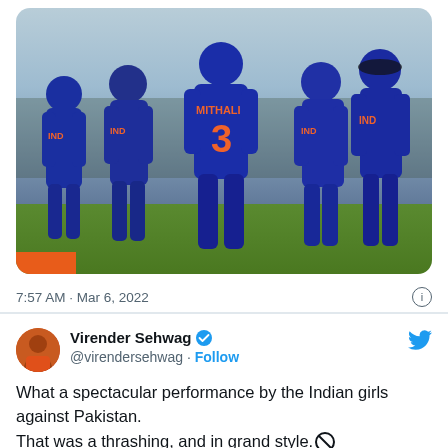[Figure (photo): Indian women's cricket team players in blue IND jerseys celebrating on a cricket field. One player has 'MITHALI 3' on their back. Players wearing blue uniforms with orange 'IND' text.]
7:57 AM · Mar 6, 2022
Virender Sehwag @virendersehwag · Follow
What a spectacular performance by the Indian girls against Pakistan.
That was a thrashing, and in grand style.
Pooja Vastrakar with a valiant innings, the ever so reliable Sneh Rana's great all-round show &